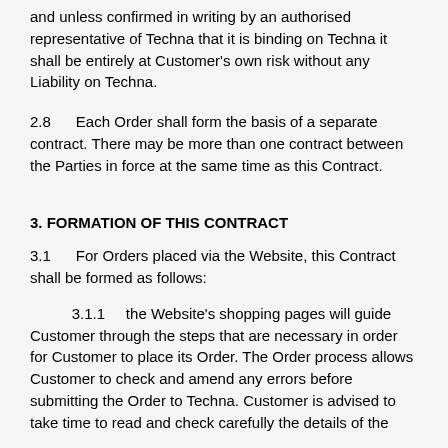and unless confirmed in writing by an authorised representative of Techna that it is binding on Techna it shall be entirely at Customer's own risk without any Liability on Techna.
2.8     Each Order shall form the basis of a separate contract. There may be more than one contract between the Parties in force at the same time as this Contract.
3. FORMATION OF THIS CONTRACT
3.1     For Orders placed via the Website, this Contract shall be formed as follows:
3.1.1     the Website's shopping pages will guide Customer through the steps that are necessary in order for Customer to place its Order. The Order process allows Customer to check and amend any errors before submitting the Order to Techna. Customer is advised to take time to read and check carefully the details of the